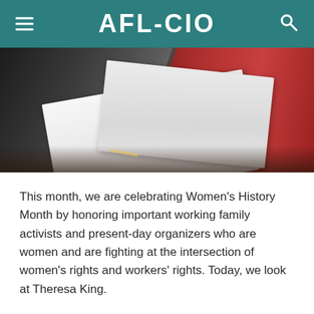AFL-CIO
[Figure (photo): Two women sitting at a table reviewing documents/papers together; one wears a black jacket with patterned top, the other wears a red patterned top.]
This month, we are celebrating Women's History Month by honoring important working family activists and present-day organizers who are women and are fighting at the intersection of women's rights and workers' rights. Today, we look at Theresa King.
In September of last year, Theresa King was elected president of the Florida Building and Construction Trades, the first woman to ever be elected to the position. Yennifer Mateo, a field representative for the